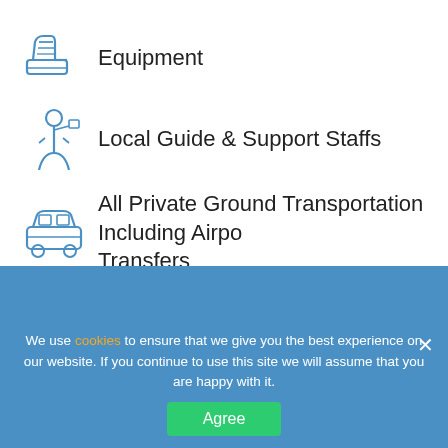Equipment
Local Guide & Support Staffs
All Private Ground Transportation Including Airport Transfers
Meals (Breakfast, Lunch and Dinner)
Bhutan Visa
Small-Group Adventure
We use cookies to ensure that we give you the best experience on our website. If you continue to use this site we will assume that you are happy with it.
US $9,390 US $626 per day
Plan My Trip
Agree